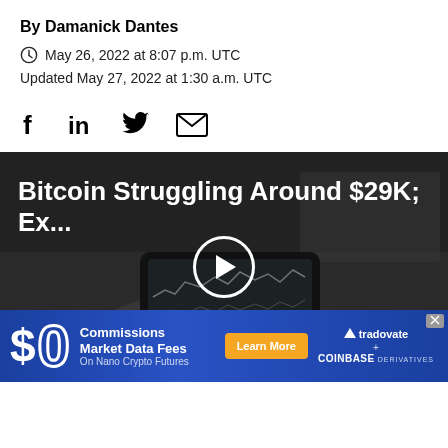By Damanick Dantes
May 26, 2022 at 8:07 p.m. UTC
Updated May 27, 2022 at 1:30 a.m. UTC
[Figure (other): Social share icons: Facebook, LinkedIn, Twitter, Email]
[Figure (screenshot): Video thumbnail showing a hand holding a smartphone with a cryptocurrency chart. Title reads: Bitcoin Struggling Around $29K; Ex... A play button is overlaid in the center. Background is dark/grayscale.]
[Figure (other): Advertisement banner for Tradovate and Coinbase Derivatives: $0 Commissions Market Data Fees On Nano Crypto Futures. Learn More button. Blue background with Tradovate + Coinbase Derivatives logos.]